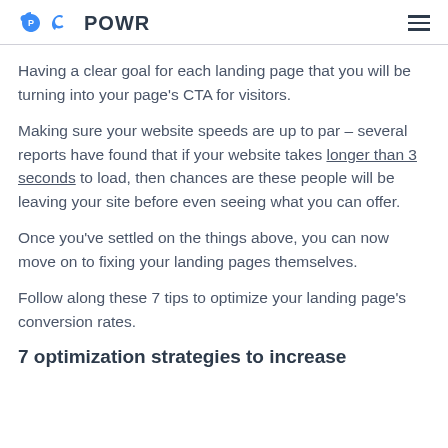POWR
Having a clear goal for each landing page that you will be turning into your page’s CTA for visitors.
Making sure your website speeds are up to par – several reports have found that if your website takes longer than 3 seconds to load, then chances are these people will be leaving your site before even seeing what you can offer.
Once you’ve settled on the things above, you can now move on to fixing your landing pages themselves.
Follow along these 7 tips to optimize your landing page’s conversion rates.
7 optimization strategies to increase